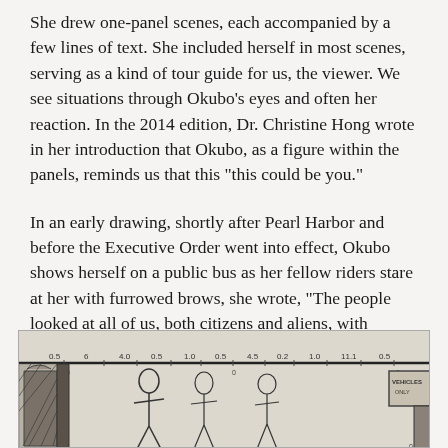She drew one-panel scenes, each accompanied by a few lines of text. She included herself in most scenes, serving as a kind of tour guide for us, the viewer. We see situations through Okubo's eyes and often her reaction. In the 2014 edition, Dr. Christine Hong wrote in her introduction that Okubo, as a figure within the panels, reminds us that this “this could be you.”
In an early drawing, shortly after Pearl Harbor and before the Executive Order went into effect, Okubo shows herself on a public bus as her fellow riders stare at her with furrowed brows, she wrote, “The people looked at all of us, both citizens and aliens, with suspicion and mistrust.”
[Figure (illustration): A black and white illustrated drawing showing figures on what appears to be a bus or public transit setting, with numbers visible along a horizontal bar at the top. The drawing is in a sketch/comic style consistent with Miné Okubo's artwork.]